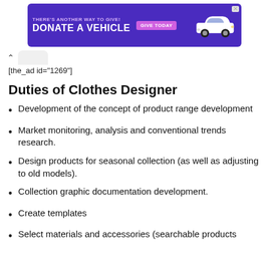[Figure (other): Purple advertisement banner: 'THERE'S ANOTHER WAY TO GIVE! DONATE A VEHICLE GIVE TODAY' with a white car illustration and a close button]
[the_ad id="1269"]
Duties of Clothes Designer
Development of the concept of product range development
Market monitoring, analysis and conventional trends research.
Design products for seasonal collection (as well as adjusting to old models).
Collection graphic documentation development.
Create templates
Select materials and accessories (searchable products